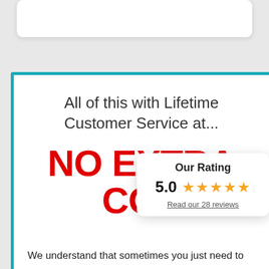[Figure (other): Top white card/panel (partially visible)]
All of this with Lifetime Customer Service at...
NO EXTRA COST
[Figure (infographic): Rating popup card showing 'Our Rating' with 5.0 score and five gold stars, and a link 'Read our 28 reviews']
We understand that sometimes you just need to